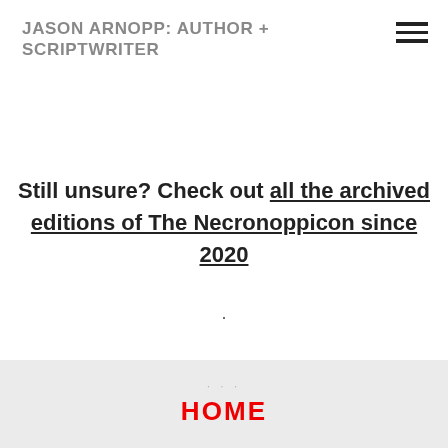JASON ARNOPP: AUTHOR + SCRIPTWRITER
Still unsure? Check out all the archived editions of The Necronoppicon since 2020
·
HOME